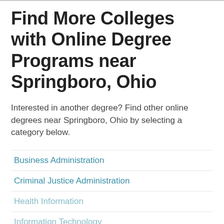Find More Colleges with Online Degree Programs near Springboro, Ohio
Interested in another degree? Find other online degrees near Springboro, Ohio by selecting a category below.
Business Administration
Criminal Justice Administration
Health Information
Information Technology